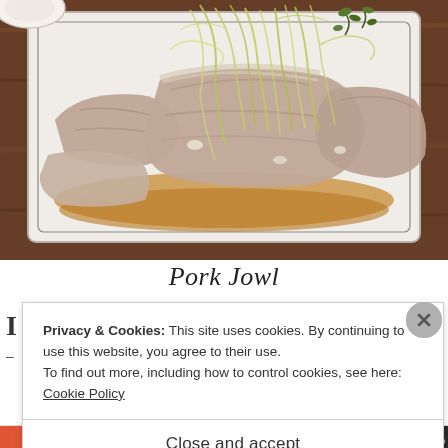[Figure (photo): A plate of sliced pork jowl (toro) garnished with shredded green onions and herbs, served in a savory brown sauce on a white rectangular plate on a wooden table.]
Pork Jowl
Privacy & Cookies: This site uses cookies. By continuing to use this website, you agree to their use.
To find out more, including how to control cookies, see here: Cookie Policy
Close and accept